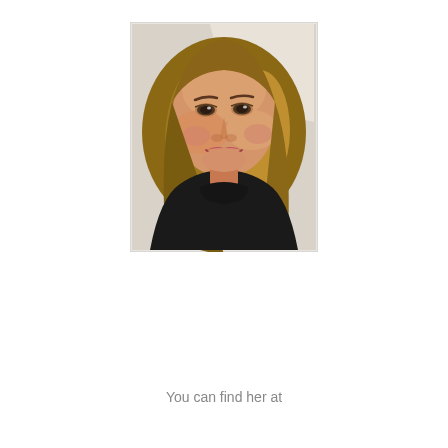[Figure (photo): Portrait photo of a smiling middle-aged woman with shoulder-length brown hair, wearing a black turtleneck sweater and a small drop earring, against a light blurred background.]
You can find her at